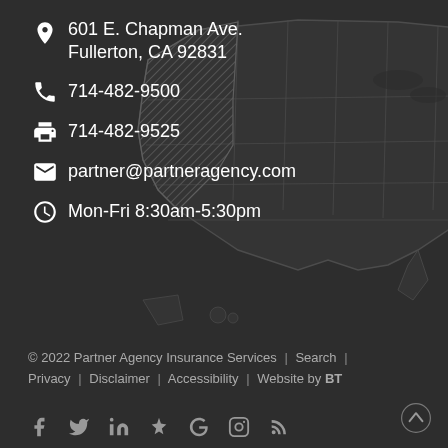[Figure (map): Silhouette map of the United States with California highlighted with diagonal hatching pattern, dark gray color scheme]
601 E. Chapman Ave. Fullerton, CA 92831
714-482-9500
714-482-9525
partner@partneragency.com
Mon-Fri 8:30am-5:30pm
© 2022 Partner Agency Insurance Services | Search | Privacy | Disclaimer | Accessibility | Website by BT
Social media icons: Facebook, Twitter, LinkedIn, Yelp, Google, Instagram, RSS